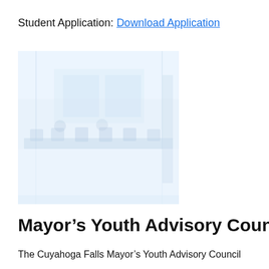Student Application: Download Application
[Figure (photo): Faded/washed-out interior photo of what appears to be a council meeting room or public building interior, showing chairs, desks, and architectural details in very light blue-white tones.]
Mayor’s Youth Advisory Council
The Cuyahoga Falls Mayor’s Youth Advisory Council